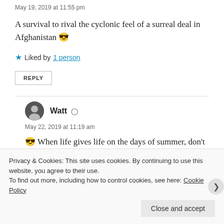May 19, 2019 at 11:55 pm
A survival to rival the cyclonic feel of a surreal deal in Afghanistan 😎
★ Liked by 1 person
REPLY
Watt
May 22, 2019 at 11:19 am
😎 When life gives life on the days of summer, don't be an
Privacy & Cookies: This site uses cookies. By continuing to use this website, you agree to their use. To find out more, including how to control cookies, see here: Cookie Policy
Close and accept